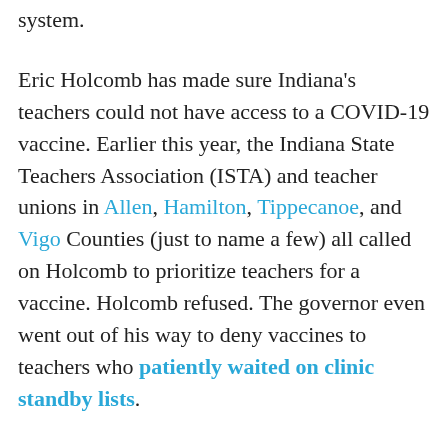system.
Eric Holcomb has made sure Indiana's teachers could not have access to a COVID-19 vaccine. Earlier this year, the Indiana State Teachers Association (ISTA) and teacher unions in Allen, Hamilton, Tippecanoe, and Vigo Counties (just to name a few) all called on Holcomb to prioritize teachers for a vaccine. Holcomb refused. The governor even went out of his way to deny vaccines to teachers who patiently waited on clinic standby lists.
Governor Holcomb's failure to prioritize Indiana's teachers reiterated a